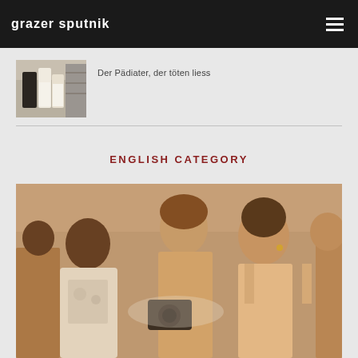grazer sputnik
[Figure (photo): Small thumbnail image of people in a kitchen/restaurant setting, dark tones, partially cropped at top]
Der Pädiater, der töten liess
[Figure (photo): Thumbnail image of two women in white aprons working in a kitchen or laundry setting]
ENGLISH CATEGORY
[Figure (photo): Large photo of two smiling women at what appears to be an outdoor festival or event, one holding a camera. Warm vintage tones.]